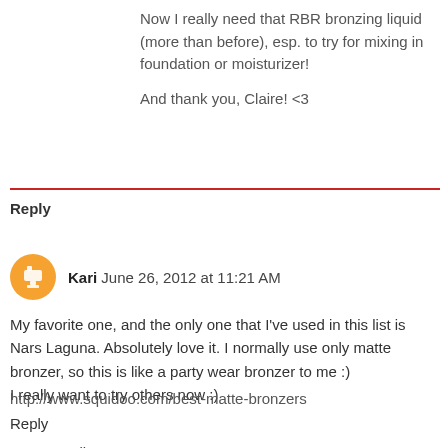Now I really need that RBR bronzing liquid (more than before), esp. to try for mixing in foundation or moisturizer!
And thank you, Claire! <3
Reply
Kari  June 26, 2012 at 11:21 AM
My favorite one, and the only one that I've used in this list is Nars Laguna. Absolutely love it. I normally use only matte bronzer, so this is like a party wear bronzer to me :)
I really want to try others now :)
http://www.squidoo.com/best-matte-bronzers
Reply
Replies
Maria @ Vintage Gulab  June 26, 2012 at